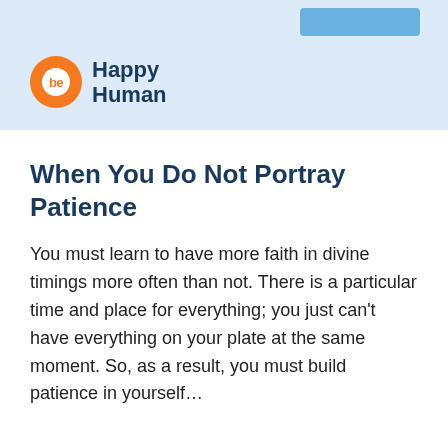Happy Human
When You Do Not Portray Patience
You must learn to have more faith in divine timings more often than not. There is a particular time and place for everything; you just can't have everything on your plate at the same moment. So, as a result, you must build patience in yourself…